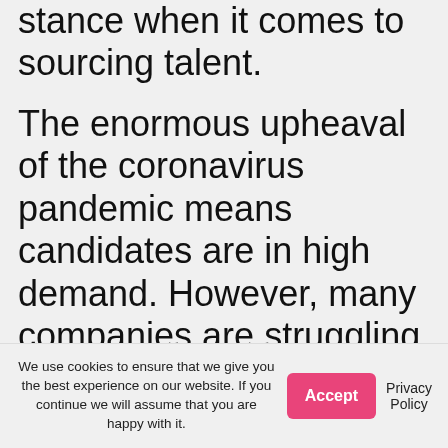stance when it comes to sourcing talent.
The enormous upheaval of the coronavirus pandemic means candidates are in high demand. However, many companies are struggling to find the right people as the pool of suitable candidates is scarce. To add to the challenge, prospective
We use cookies to ensure that we give you the best experience on our website. If you continue we will assume that you are happy with it.
Accept
Privacy Policy